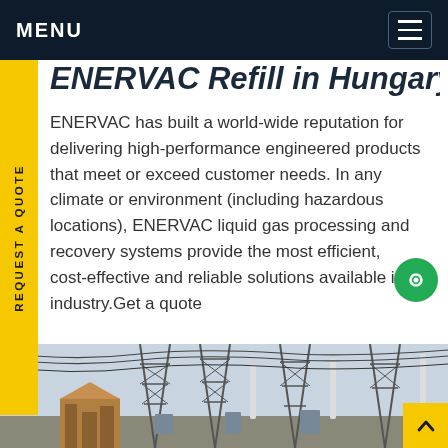MENU
ENERVAC Refill in Hungary
ENERVAC has built a world-wide reputation for delivering high-performance engineered products that meet or exceed customer needs. In any climate or environment (including hazardous locations), ENERVAC liquid gas processing and recovery systems provide the most efficient, cost-effective and reliable solutions available in the industry. Get a quote
[Figure (photo): Electrical substation with steel lattice towers, high-voltage lines, and insulators. A wooden structure or building is visible in the foreground.]